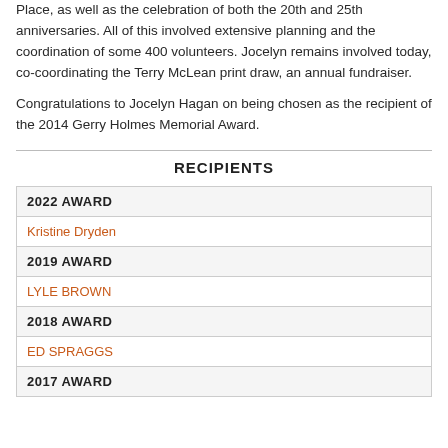Place, as well as the celebration of both the 20th and 25th anniversaries. All of this involved extensive planning and the coordination of some 400 volunteers. Jocelyn remains involved today, co-coordinating the Terry McLean print draw, an annual fundraiser.
Congratulations to Jocelyn Hagan on being chosen as the recipient of the 2014 Gerry Holmes Memorial Award.
RECIPIENTS
| 2022 AWARD |
| Kristine Dryden |
| 2019 AWARD |
| LYLE BROWN |
| 2018 AWARD |
| ED SPRAGGS |
| 2017 AWARD |